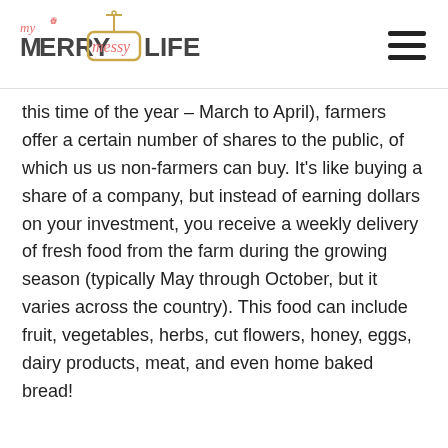My Merry Messy Life
this time of the year – March to April), farmers offer a certain number of shares to the public, of which us us non-farmers can buy. It's like buying a share of a company, but instead of earning dollars on your investment, you receive a weekly delivery of fresh food from the farm during the growing season (typically May through October, but it varies across the country). This food can include fruit, vegetables, herbs, cut flowers, honey, eggs, dairy products, meat, and even home baked bread!